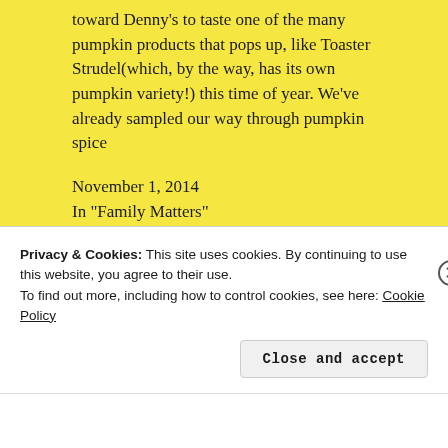toward Denny's to taste one of the many pumpkin products that pops up, like Toaster Strudel(which, by the way, has its own pumpkin variety!) this time of year. We've already sampled our way through pumpkin spice
November 1, 2014
In "Family Matters"
Happy Hoppin' John Time!
Verse:  Save now, we beseech You, O Lord; send now prosperity, O Lord, we beseech You, and give to us success! Psalms 118:25(Ampl. Bible) It's New Year's Day, and in a short while, probably between college football games, I'll begin preparing a meal that's been a family tradition for
Privacy & Cookies: This site uses cookies. By continuing to use this website, you agree to their use.
To find out more, including how to control cookies, see here: Cookie Policy
Close and accept